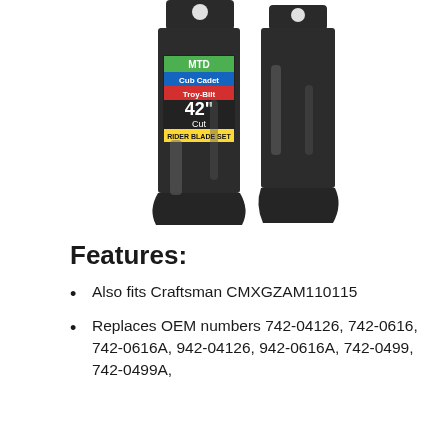[Figure (photo): Two black riding mower blades (42 inch cut) shown side by side with product label reading MTD, Cub Cadet, Troy-Bilt, 42" Cut, Rider Blade Set]
Features:
Also fits Craftsman CMXGZAM110115
Replaces OEM numbers 742-04126, 742-0616, 742-0616A, 942-04126, 942-0616A, 742-0499, 742-0499A,